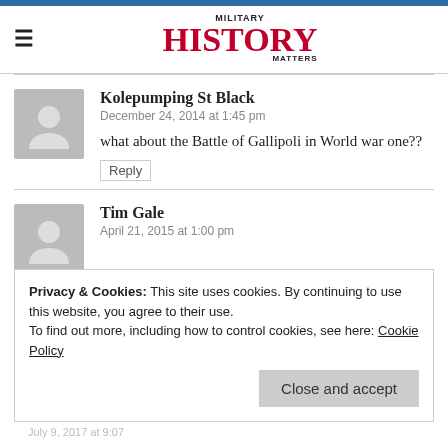MILITARY HISTORY MATTERS
Kolepumping St Black
December 24, 2014 at 1:45 pm
what about the Battle of Gallipoli in World war one??
Reply
Tim Gale
April 21, 2015 at 1:00 pm
Privacy & Cookies: This site uses cookies. By continuing to use this website, you agree to their use.
To find out more, including how to control cookies, see here: Cookie Policy
Close and accept